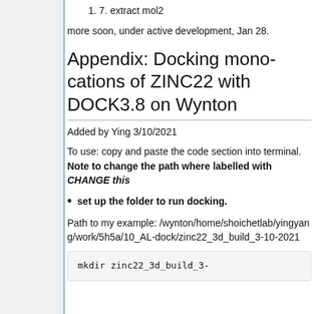1. 7. extract mol2
more soon, under active development, Jan 28.
Appendix: Docking mono-cations of ZINC22 with DOCK3.8 on Wynton
Added by Ying 3/10/2021
To use: copy and paste the code section into terminal. Note to change the path where labelled with CHANGE this
set up the folder to run docking.
Path to my example: /wynton/home/shoichetlab/yingyang/work/5h5a/10_AL-dock/zinc22_3d_build_3-10-2021
mkdir zinc22_3d_build_3-